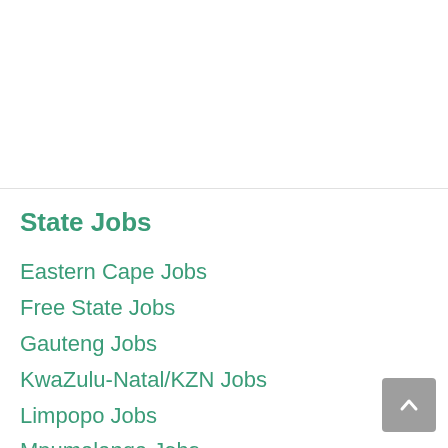State Jobs
Eastern Cape Jobs
Free State Jobs
Gauteng Jobs
KwaZulu-Natal/KZN Jobs
Limpopo Jobs
Mpumalanga Jobs